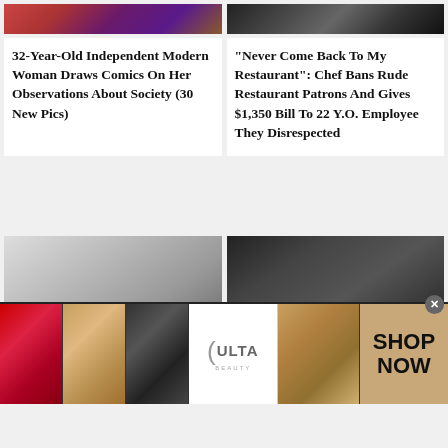[Figure (photo): Partial view of a floral/colorful image, cropped at top]
[Figure (photo): Partial dark/moody image cropped at top]
32-Year-Old Independent Modern Woman Draws Comics On Her Observations About Society (30 New Pics)
"Never Come Back To My Restaurant": Chef Bans Rude Restaurant Patrons And Gives $1,350 Bill To 22 Y.O. Employee They Disrespected
[Figure (photo): Person working at a large printing/industrial machine in workshop]
[Figure (photo): People standing at a bar/restaurant setting with bottles and glasses]
Employee Maliciously
The Best And Worst
[Figure (advertisement): Ulta Beauty advertisement with makeup imagery and SHOP NOW call to action]